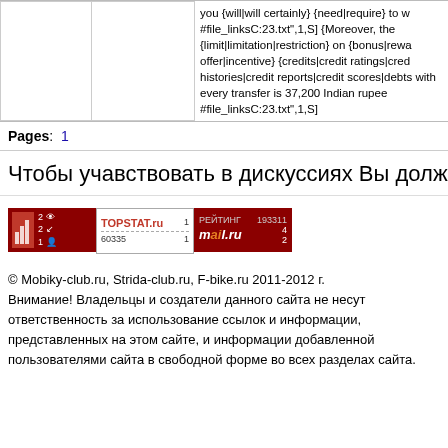|  |  | you {will|will certainly} {need|require} to w #file_linksC:23.txt",1,S] {Moreover, the {limit|limitation|restriction} on {bonus|rewa offer|incentive} {credits|credit ratings|cred histories|credit reports|credit scores|debts with every transfer is 37,200 Indian rupee #file_linksC:23.txt",1,S] |
Pages: 1
Чтобы учавствовать в дискуссиях Вы должны авто
[Figure (screenshot): Three banner images: a red stats banner, TOPSTAT.ru banner, and mail.ru rating banner showing statistics 193311, 4, 2]
© Mobiky-club.ru, Strida-club.ru, F-bike.ru 2011-2012 г. Внимание! Владельцы и создатели данного сайта не несут ответственность за использование ссылок и информации, представленных на этом сайте, и информации добавленной пользователями сайта в свободной форме во всех разделах сайта.